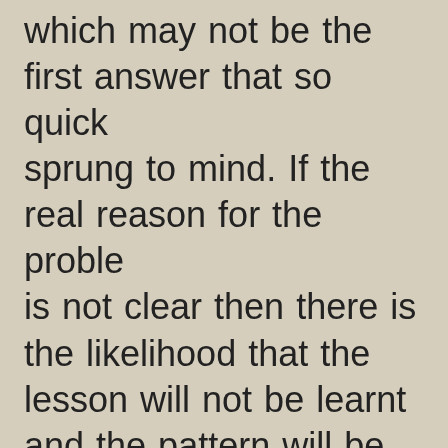which may not be the first answer that so quickly sprung to mind. If the real reason for the problem is not clear then there is the likelihood that the lesson will not be learnt and the pattern will be repeated. Problems are likely to be compiled if blame is directly aimed at partners, spouses, friends, colleagues and  family members. Blaming can come in two different ways, the first is that always blaming others for our mistakes. This puts us in the role of victim and 'poor me' which distracts us from ever taking responsibility for our actions. The other is when we turn the blame inwards and haunt ourselves with never ending guilt and remorse……